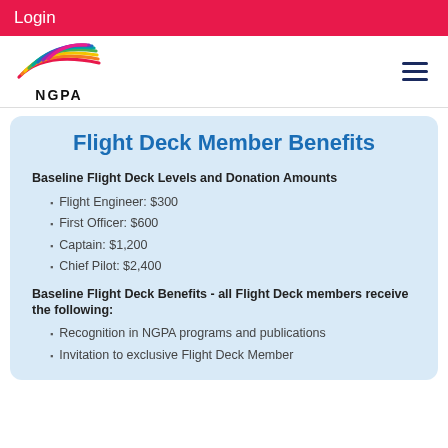Login
[Figure (logo): NGPA colorful wing logo with text NGPA below]
Flight Deck Member Benefits
Baseline Flight Deck Levels and Donation Amounts
Flight Engineer: $300
First Officer: $600
Captain: $1,200
Chief Pilot: $2,400
Baseline Flight Deck Benefits - all Flight Deck members receive the following:
Recognition in NGPA programs and publications
Invitation to exclusive Flight Deck Member